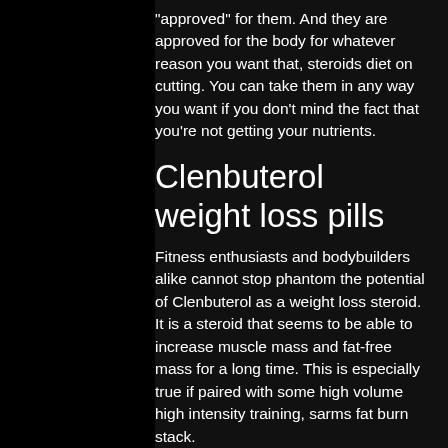"approved" for them. And they are approved for the body for whatever reason you want that, steroids diet on cutting. You can take them in any way you want if you don't mind the fact that you're not getting your nutrients.
Clenbuterol weight loss pills
Fitness enthusiasts and bodybuilders alike cannot stop phantom the potential of Clenbuterol as a weight loss steroid. It is a steroid that seems to be able to increase muscle mass and fat-free mass for a long time. This is especially true if paired with some high volume high intensity training, sarms fat burn stack.
Now, it should be obvious from all the information we just put out there that Clenbuterol does not work on everyone, best sarms to burn fat. Even if you are